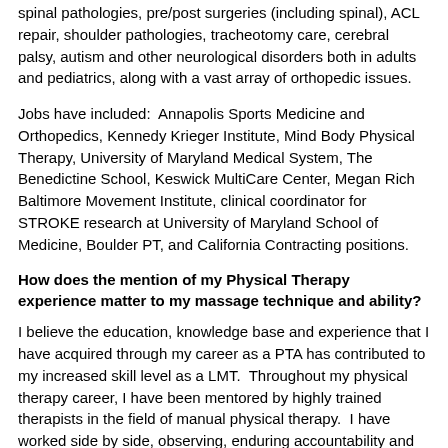spinal pathologies, pre/post surgeries (including spinal), ACL repair, shoulder pathologies, tracheotomy care, cerebral palsy, autism and other neurological disorders both in adults and pediatrics, along with a vast array of orthopedic issues.
Jobs have included:  Annapolis Sports Medicine and Orthopedics, Kennedy Krieger Institute, Mind Body Physical Therapy, University of Maryland Medical System, The Benedictine School, Keswick MultiCare Center, Megan Rich Baltimore Movement Institute, clinical coordinator for STROKE research at University of Maryland School of Medicine, Boulder PT, and California Contracting positions.
How does the mention of my Physical Therapy experience matter to my massage technique and ability?
I believe the education, knowledge base and experience that I have acquired through my career as a PTA has contributed to my increased skill level as a LMT.  Throughout my physical therapy career, I have been mentored by highly trained therapists in the field of manual physical therapy.  I have worked side by side, observing, enduring accountability and reinforcement through practicum, with other highly